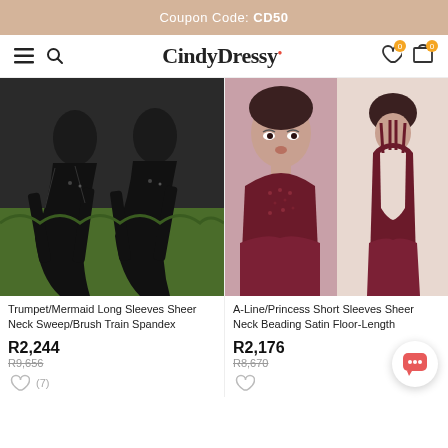Coupon Code: CD50
[Figure (screenshot): CindyDressy navigation bar with hamburger menu, search icon, logo, heart and cart icons]
[Figure (photo): Black mermaid gown with long sleeves and sheer neck, shown on two models outdoors]
Trumpet/Mermaid Long Sleeves Sheer Neck Sweep/Brush Train Spandex
R2,244
R9,656
[Figure (photo): Burgundy/maroon beaded A-line gown with short sleeves and open back, shown on two models]
A-Line/Princess Short Sleeves Sheer Neck Beading Satin Floor-Length
R2,176
R8,670